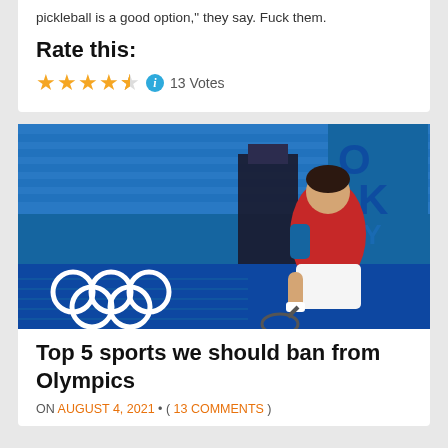pickleball is a good option," they say. Fuck them.
Rate this:
4.5 stars — 13 Votes
[Figure (photo): Tennis player (Novak Djokovic) in red and blue outfit smashing or slamming racket near the net with Olympic rings visible, blue stadium seats in background]
Top 5 sports we should ban from Olympics
ON AUGUST 4, 2021 • ( 13 COMMENTS )